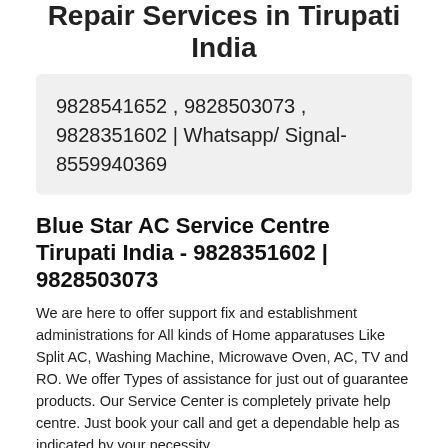Repair Services in Tirupati India
9828541652 , 9828503073 , 9828351602 | Whatsapp/ Signal-8559940369
Blue Star AC Service Centre Tirupati India - 9828351602 | 9828503073
We are here to offer support fix and establishment administrations for All kinds of Home apparatuses Like Split AC, Washing Machine, Microwave Oven, AC, TV and RO. We offer Types of assistance for just out of guarantee products. Our Service Center is completely private help centre. Just book your call and get a dependable help as indicated by your necessity.
Blue Star Air Conditioner, AC Repair Services in Tirupati India - 9828503073